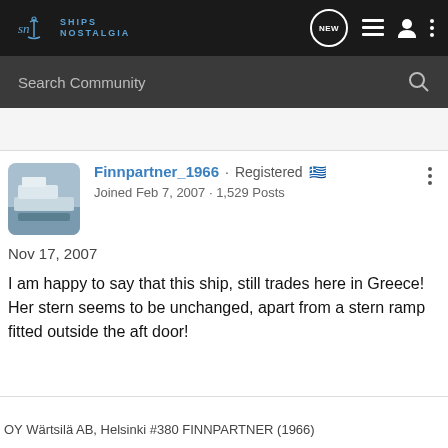SHIPS NOSTALGIA — NEW — navigation icons
Search Community
Finnpartner_1966 · Registered
Joined Feb 7, 2007 · 1,529 Posts
Nov 17, 2007
I am happy to say that this ship, still trades here in Greece! Her stern seems to be unchanged, apart from a stern ramp fitted outside the aft door!
OY Wärtsilä AB, Helsinki #380 FINNPARTNER (1966)